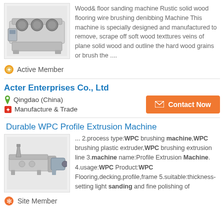[Figure (photo): Industrial wood/floor sanding machine with multiple drums]
Wood& floor sanding machine Rustic solid wood flooring wire brushing denibbing Machine This machine is specially designed and manufactured to remove, scrape off soft wood texttures veins of plane solid wood and outline the hard wood grains or brush the ....
Active Member
Acter Enterprises Co., Ltd
Qingdao (China)
Manufacture & Trade
Contact Now
Durable WPC Profile Extrusion Machine
[Figure (photo): WPC Profile Extrusion Machine industrial equipment]
... 2.process type:WPC brushing machine,WPC brushing plastic extruder,WPC brushing extrusion line 3.machine name:Profile Extrusion Machine. 4.usage:WPC Product:WPC Flooring,decking,profile,frame 5.suitable:thickness-setting light sanding and fine polishing of
Site Member